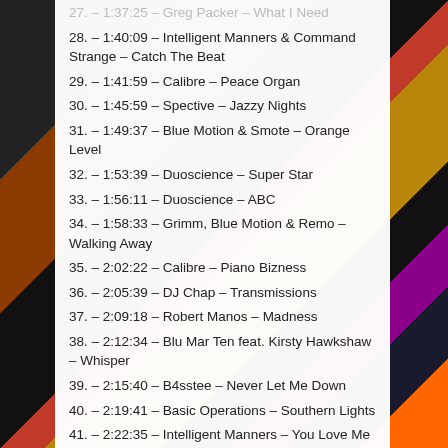27. – 1:37:25 – Greg Packer – What I Need
28. – 1:40:09 – Intelligent Manners & Command Strange – Catch The Beat
29. – 1:41:59 – Calibre – Peace Organ
30. – 1:45:59 – Spective – Jazzy Nights
31. – 1:49:37 – Blue Motion & Smote – Orange Level
32. – 1:53:39 – Duoscience – Super Star
33. – 1:56:11 – Duoscience – ABC
34. – 1:58:33 – Grimm, Blue Motion & Remo – Walking Away
35. – 2:02:22 – Calibre – Piano Bizness
36. – 2:05:39 – DJ Chap – Transmissions
37. – 2:09:18 – Robert Manos – Madness
38. – 2:12:34 – Blu Mar Ten feat. Kirsty Hawkshaw – Whisper
39. – 2:15:40 – B4sstee – Never Let Me Down
40. – 2:19:41 – Basic Operations – Southern Lights
41. – 2:22:35 – Intelligent Manners – You Love Me
42. – 2:25:53 – Command Strange – Just Relax & Look